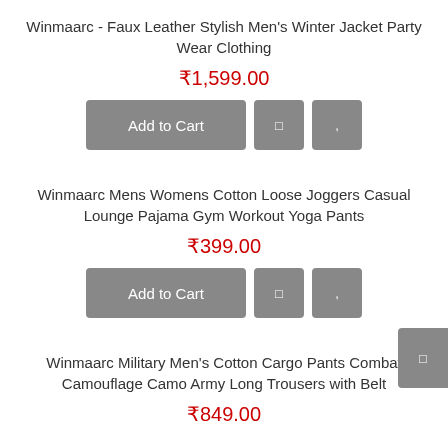Winmaarc - Faux Leather Stylish Men's Winter Jacket Party Wear Clothing
₹1,599.00
[Figure (screenshot): Add to Cart button and two icon buttons]
Winmaarc Mens Womens Cotton Loose Joggers Casual Lounge Pajama Gym Workout Yoga Pants
₹399.00
[Figure (screenshot): Add to Cart button and two icon buttons]
Winmaarc Military Men's Cotton Cargo Pants Combat Camouflage Camo Army Long Trousers with Belt
₹849.00